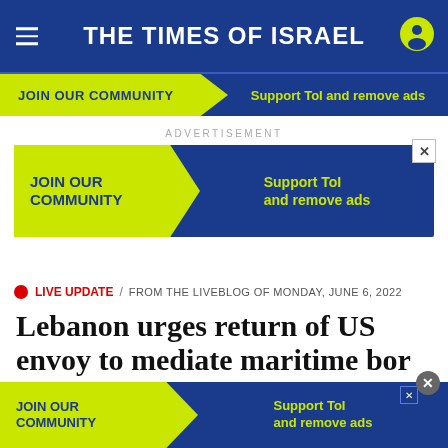THE TIMES OF ISRAEL
JOIN OUR COMMUNITY   Support ToI and remove ads
ADVERTISEMENT
[Figure (infographic): Advertisement banner: JOIN OUR COMMUNITY | Support ToI and remove ads on blue background with yellow arrow shape]
🔴 LIVE UPDATE / FROM THE LIVEBLOG OF MONDAY, JUNE 6, 2022
Lebanon urges return of US envoy to mediate maritime bor...
[Figure (infographic): Bottom overlay advertisement banner: JOIN OUR COMMUNITY | Support ToI and remove ads]